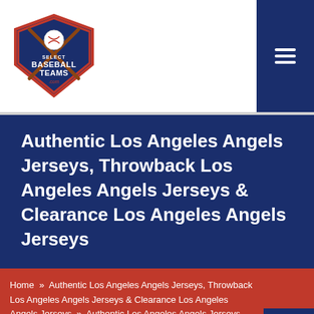[Figure (logo): SelectBaseballTeams.com logo with shield shape, baseball, and bats]
Authentic Los Angeles Angels Jerseys, Throwback Los Angeles Angels Jerseys & Clearance Los Angeles Angels Jerseys
Home » Authentic Los Angeles Angels Jerseys, Throwback Los Angeles Angels Jerseys & Clearance Los Angeles Angels Jerseys » Authentic Los Angeles Angels Jerseys, Throwback Los Angeles Angels Jerseys & Clearance Los Angeles Angels Jerseys
Los Angeles Angels Jerseys